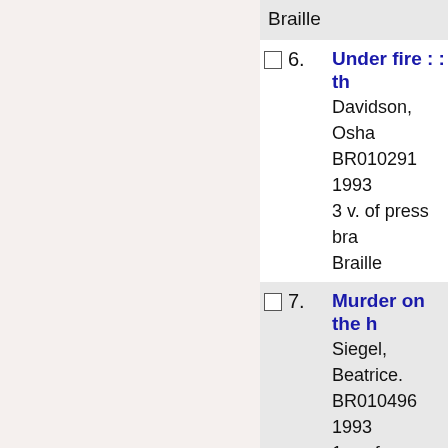Braille
6. Under fire : : th
Davidson, Osha
BR010291
1993
3 v. of press bra
Braille
7. Murder on the h
Siegel, Beatrice.
BR010496
1993
1 v. of press bra
Braille
8. The quiet heroe
history of the m
Maneki, Sharon
BR011077
1996